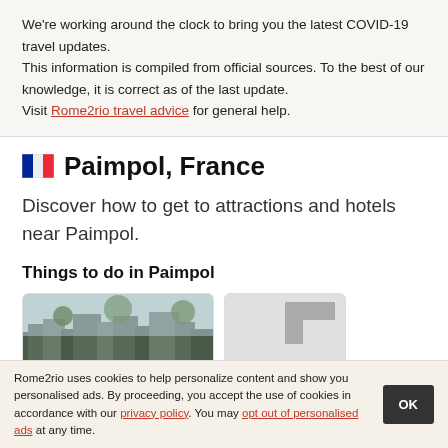We're working around the clock to bring you the latest COVID-19 travel updates.
This information is compiled from official sources. To the best of our knowledge, it is correct as of the last update.
Visit Rome2rio travel advice for general help.
🇫🇷 Paimpol, France
Discover how to get to attractions and hotels near Paimpol.
Things to do in Paimpol
[Figure (photo): Photo of buildings and trees in Paimpol, France]
[Figure (photo): Placeholder image card with grey background]
Rome2rio uses cookies to help personalize content and show you personalised ads. By proceeding, you accept the use of cookies in accordance with our privacy policy. You may opt out of personalised ads at any time.